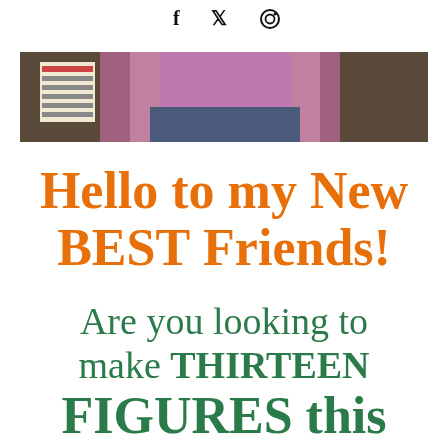f  𝕏  ⊙
[Figure (photo): Cropped photo of a person wearing a pink/purple sweater and jeans, partially visible from waist up, with what appears to be a sign or bulletin board in the background]
Hello to my New BEST Friends!
Are you looking to make THIRTEEN FIGURES this year???